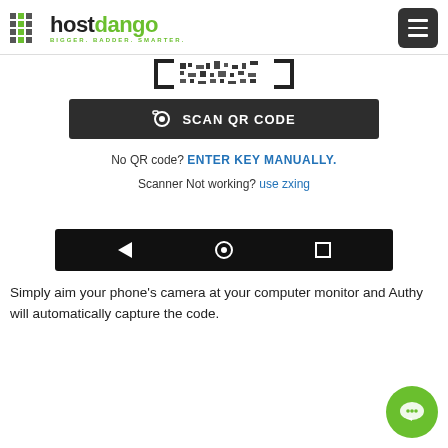hostdango BIGGER. BADDER. SMARTER.
[Figure (screenshot): Partial QR code image cropped at top]
[Figure (screenshot): SCAN QR CODE button with camera icon in dark background]
No QR code? ENTER KEY MANUALLY.
Scanner Not working? use zxing
[Figure (screenshot): Android navigation bar with back, home, and recent apps buttons on black background]
Simply aim your phone's camera at your computer monitor and Authy will automatically capture the code.